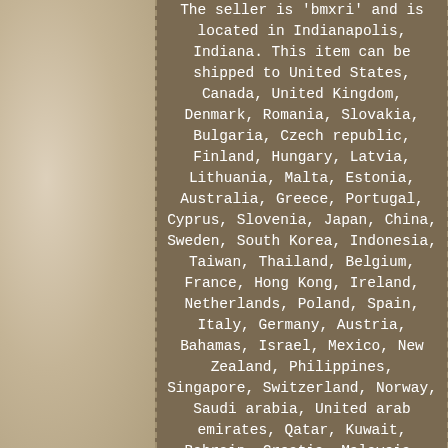The seller is 'bmxri' and is located in Indianapolis, Indiana. This item can be shipped to United States, Canada, United Kingdom, Denmark, Romania, Slovakia, Bulgaria, Czech republic, Finland, Hungary, Latvia, Lithuania, Malta, Estonia, Australia, Greece, Portugal, Cyprus, Slovenia, Japan, China, Sweden, South Korea, Indonesia, Taiwan, Thailand, Belgium, France, Hong Kong, Ireland, Netherlands, Poland, Spain, Italy, Germany, Austria, Bahamas, Israel, Mexico, New Zealand, Philippines, Singapore, Switzerland, Norway, Saudi arabia, United arab emirates, Qatar, Kuwait, Bahrain, Croatia, Malaysia, Brazil, Chile, Aruba, Belize, Dominica, Grenada, Saint kitts and nevis, Turks and caicos islands, Bangladesh,